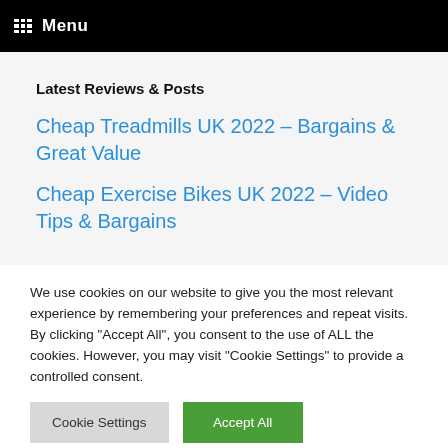Menu
Latest Reviews & Posts
Cheap Treadmills UK 2022 – Bargains & Great Value
Cheap Exercise Bikes UK 2022 – Video Tips & Bargains
We use cookies on our website to give you the most relevant experience by remembering your preferences and repeat visits. By clicking "Accept All", you consent to the use of ALL the cookies. However, you may visit "Cookie Settings" to provide a controlled consent.
Cookie Settings | Accept All